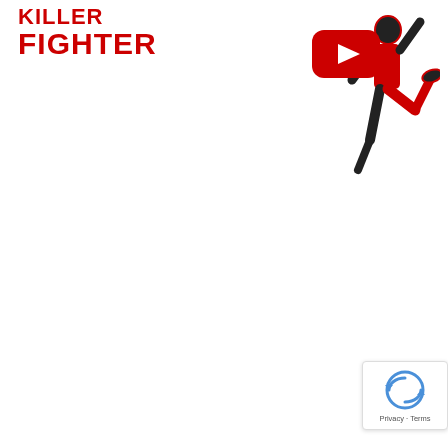[Figure (screenshot): YouTube video thumbnail for 'Killer Fighter Workout' showing text in red and white on dark background, YouTube play button, and a fighter performing a high kick with red outline on the right side.]
Muay Thai Will Always Be There for You
Finally, just because you're going through a season of life in which you can't train in a gym doesn't mean that you can't maintain your fitness, your skills, and your passion for the sport. Muay Thai will always be there for you.